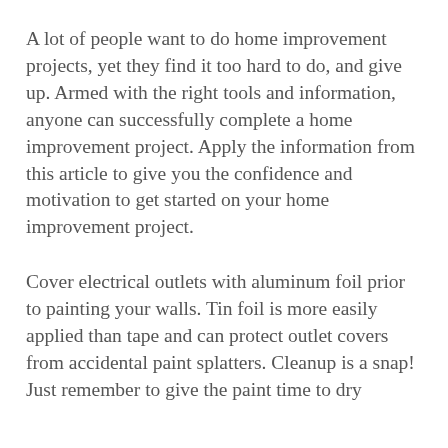A lot of people want to do home improvement projects, yet they find it too hard to do, and give up. Armed with the right tools and information, anyone can successfully complete a home improvement project. Apply the information from this article to give you the confidence and motivation to get started on your home improvement project.
Cover electrical outlets with aluminum foil prior to painting your walls. Tin foil is more easily applied than tape and can protect outlet covers from accidental paint splatters. Cleanup is a snap! Just remember to give the paint time to dry